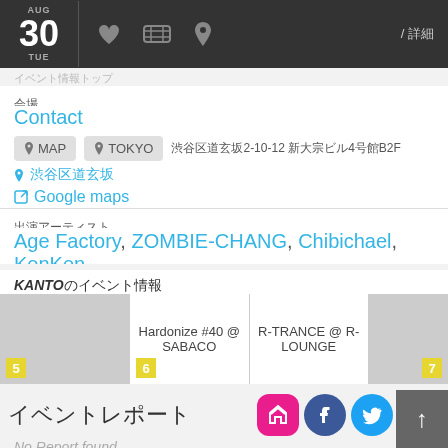AUG 30 TUE
会場
Contact
MAP  TOKYO  渋谷区道玄坂2-10-12 新大宗ビル4号館B2F
渋谷区道玄坂
Google maps
出演アーティスト
Age Factory, ZOMBIE-CHANG, Chibichael, KenKen
KANTOのイベント情報
Hardonize #40 @ SABACO
R-TRANCE @ R-LOUNGE
イベントレポート
No Report found.